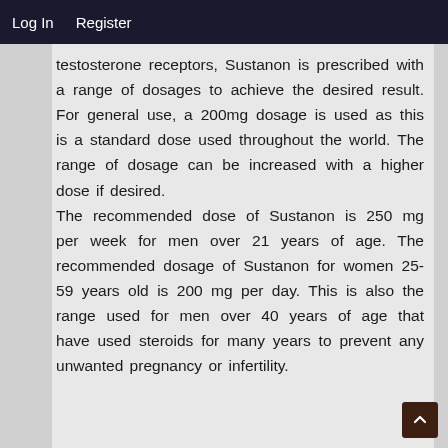Log In   Register
testosterone receptors, Sustanon is prescribed with a range of dosages to achieve the desired result. For general use, a 200mg dosage is used as this is a standard dose used throughout the world. The range of dosage can be increased with a higher dose if desired. The recommended dose of Sustanon is 250 mg per week for men over 21 years of age. The recommended dosage of Sustanon for women 25-59 years old is 200 mg per day. This is also the range used for men over 40 years of age that have used steroids for many years to prevent any unwanted pregnancy or infertility.